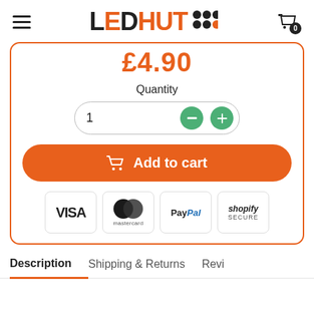[Figure (logo): LED HUT logo with colored dots and hamburger menu, cart icon with badge 0]
£4.90
Quantity
1
Add to cart
[Figure (logo): Payment method logos: VISA, Mastercard, PayPal, Shopify Secure]
Description
Shipping & Returns
Revi